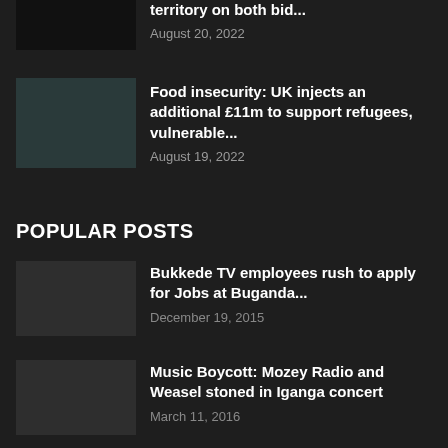[Figure (photo): Partially visible dark news article thumbnail image at top]
territory on both bid...
August 20, 2022
[Figure (photo): News article thumbnail showing people, food insecurity story]
Food insecurity: UK injects an additional £11m to support refugees, vulnerable...
August 19, 2022
POPULAR POSTS
[Figure (photo): Dark thumbnail for Bukkede TV employees story]
Bukkede TV employees rush to apply for Jobs at Buganda...
December 19, 2015
[Figure (photo): Dark thumbnail for Music Boycott story]
Music Boycott: Mozey Radio and Weasel stoned in Iganga concert
March 11, 2016
[Figure (photo): Dark thumbnail for Man shot dead story]
Man shot dead for brushing CEO's car at